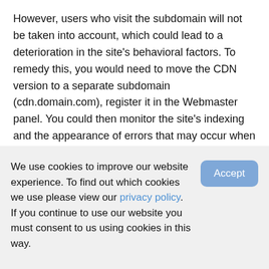However, users who visit the subdomain will not be taken into account, which could lead to a deterioration in the site's behavioral factors. To remedy this, you would need to move the CDN version to a separate subdomain (cdn.domain.com), register it in the Webmaster panel. You could then monitor the site's indexing and the appearance of errors that may occur when using CDNs.
Incorrect content optimization
We use cookies to improve our website experience. To find out which cookies we use please view our privacy policy. If you continue to use our website you must consent to us using cookies in this way.